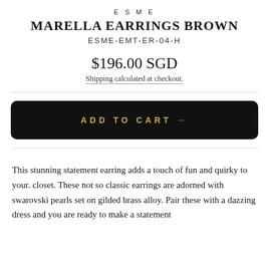ESME
MARELLA EARRINGS BROWN
ESME-EMT-ER-04-H
$196.00 SGD
Shipping calculated at checkout.
ADD TO CART →
This stunning statement earring adds a touch of fun and quirky to your. closet. These not so classic earrings are adorned with swarovski pearls set on gilded brass alloy. Pair these with a dazzing dress and you are ready to make a statement